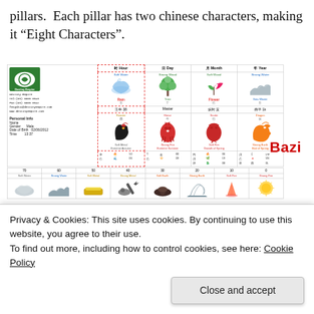pillars. Each pillar has two chinese characters, making it "Eight Characters".
[Figure (screenshot): Bazi chart from Destiny Empire website showing Hour, Day, Month, Year pillars with elements Rain, Tree, Flower, Sea Water and animal signs. Below is a decade table with ages 70, 60, 50, 40, 30, 20, 10, 0 and corresponding elements: Soft Water, Strong Water, Soft Metal, Strong Metal, Soft Earth, Strong Earth, Soft Fire, Strong Fire.]
Privacy & Cookies: This site uses cookies. By continuing to use this website, you agree to their use.
To find out more, including how to control cookies, see here: Cookie Policy
Close and accept